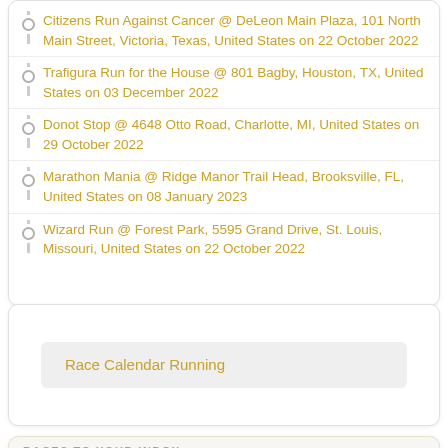Citizens Run Against Cancer @ DeLeon Main Plaza, 101 North Main Street, Victoria, Texas, United States on 22 October 2022
Trafigura Run for the House @ 801 Bagby, Houston, TX, United States on 03 December 2022
Donot Stop @ 4648 Otto Road, Charlotte, MI, United States on 29 October 2022
Marathon Mania @ Ridge Manor Trail Head, Brooksville, FL, United States on 08 January 2023
Wizard Run @ Forest Park, 5595 Grand Drive, St. Louis, Missouri, United States on 22 October 2022
Race Calendar Running
RACES TO YOUR INBOX
Subscribe to receive notifications about...